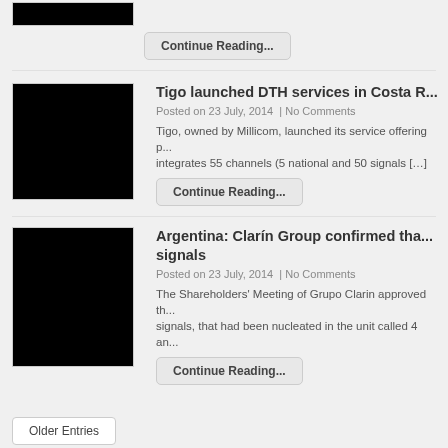[Figure (photo): Black thumbnail image (top, partially visible)]
Continue Reading...
[Figure (photo): Black thumbnail image for Tigo DTH article]
Tigo launched DTH services in Costa R...
Posted on 23 July, 2014  | No Comments
Tigo, owned by Millicom, launched its service offering p... integrates 55 channels (5 national and 50 signals […]
Continue Reading...
[Figure (photo): Black thumbnail image for Argentina Clarín Group article]
Argentina: Clarín Group confirmed tha... signals
Posted on 23 July, 2014  | No Comments
The Shareholders' Meeting of Grupo Clarin approved th... signals, that had been nucleated in the unit called 4 an...
Continue Reading...
Older Entries